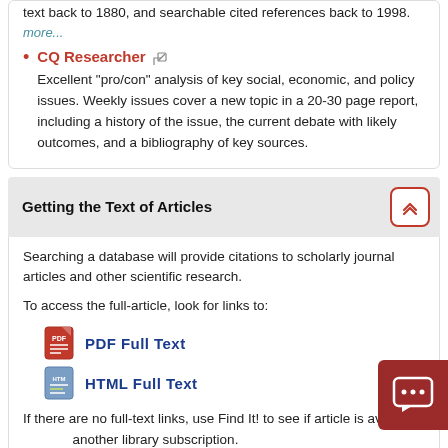text back to 1880, and searchable cited references back to 1998.
more...
CQ Researcher - Excellent "pro/con" analysis of key social, economic, and policy issues. Weekly issues cover a new topic in a 20-30 page report, including a history of the issue, the current debate with likely outcomes, and a bibliography of key sources.
Getting the Text of Articles
Searching a database will provide citations to scholarly journal articles and other scientific research.
To access the full-article, look for links to:
[Figure (infographic): PDF Full Text icon with red PDF logo]
[Figure (infographic): HTML Full Text icon with document logo]
If there are no full-text links, use Find It! to see if article is available another library subscription.